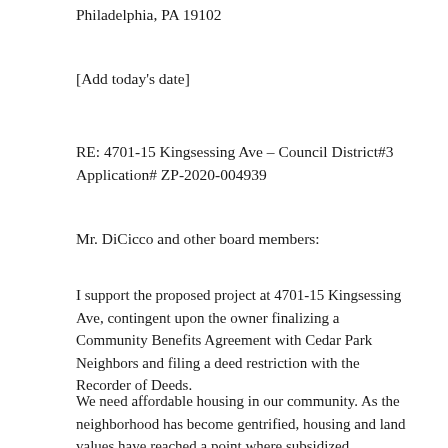Philadelphia, PA 19102
[Add today's date]
RE: 4701-15 Kingsessing Ave – Council District#3
Application# ZP-2020-004939
Mr. DiCicco and other board members:
I support the proposed project at 4701-15 Kingsessing Ave, contingent upon the owner finalizing a Community Benefits Agreement with Cedar Park Neighbors and filing a deed restriction with the Recorder of Deeds.
We need affordable housing in our community. As the neighborhood has become gentrified, housing and land values have reached a point where subsidized affordable housing projects are no longer feasible to build in this community, but there for affordable housing, etc.